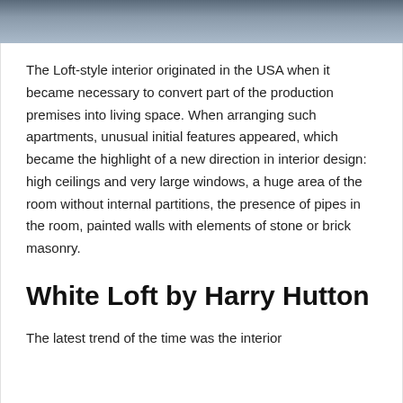[Figure (photo): Partial photo strip at the top of the page showing an interior or architectural scene in muted gray-blue tones]
The Loft-style interior originated in the USA when it became necessary to convert part of the production premises into living space. When arranging such apartments, unusual initial features appeared, which became the highlight of a new direction in interior design: high ceilings and very large windows, a huge area of the room without internal partitions, the presence of pipes in the room, painted walls with elements of stone or brick masonry.
White Loft by Harry Hutton
The latest trend of the time was the interior